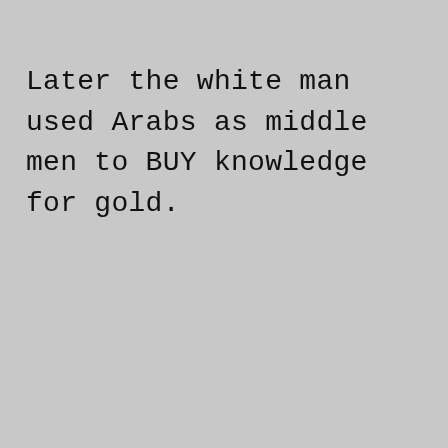Later the white man used Arabs as middle men to BUY knowledge for gold.